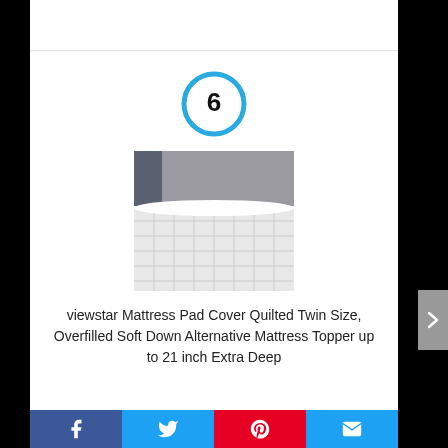[Figure (other): Blue circle with number 6 inside, ranking indicator]
[Figure (photo): Product photo of viewstar Mattress Pad Cover showing a white quilted mattress topper on a bed with gray curtains and headboard in background]
viewstar Mattress Pad Cover Quilted Twin Size, Overfilled Soft Down Alternative Mattress Topper up to 21 inch Extra Deep